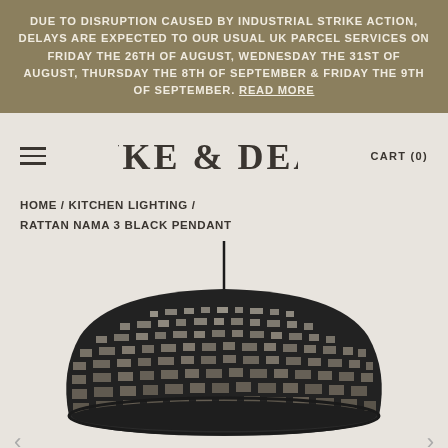DUE TO DISRUPTION CAUSED BY INDUSTRIAL STRIKE ACTION, DELAYS ARE EXPECTED TO OUR USUAL UK PARCEL SERVICES ON FRIDAY THE 26TH OF AUGUST, WEDNESDAY THE 31ST OF AUGUST, THURSDAY THE 8TH OF SEPTEMBER & FRIDAY THE 9TH OF SEPTEMBER. READ MORE
[Figure (logo): Dyke & Dean logo in serif display font]
CART (0)
HOME / KITCHEN LIGHTING / RATTAN NAMA 3 BLACK PENDANT
[Figure (photo): Large black woven rattan dome pendant lamp hanging from a thin black cord/rod against a light grey background. The lamp shade has a beehive dome shape with horizontal woven rattan strips creating a striped pattern.]